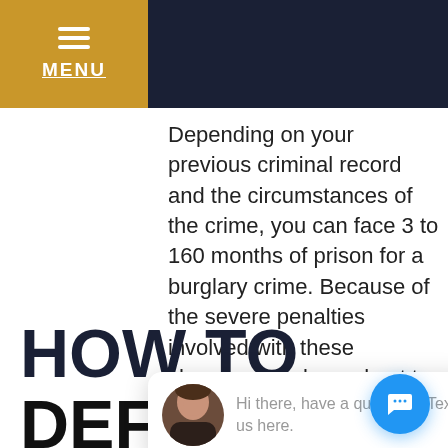MENU
Depending on your previous criminal record and the circumstances of the crime, you can face 3 to 160 months of prison for a burglary crime. Because of the severe penalties involved with these charges, it's always best to find an experienced lawyer ... ies.
HOW TO DEFEND
[Figure (screenshot): Chat popup widget showing avatar of a woman and text: Hi there, have a question? Text us here. With a close button and a blue chat bubble button in the bottom right corner.]